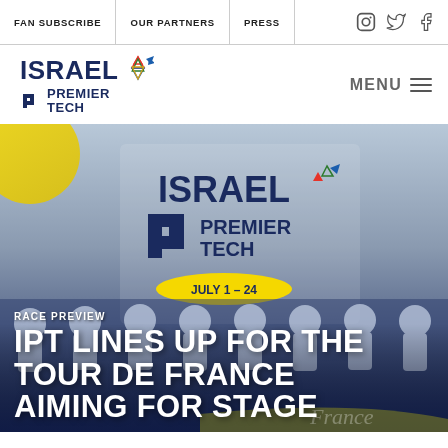FAN SUBSCRIBE | OUR PARTNERS | PRESS
[Figure (logo): Israel Premier Tech cycling team logo with Star of David icon and Premier Tech P logo]
MENU
[Figure (photo): Israel Premier Tech team lineup photo for Tour de France with team members in white/blue jerseys. Overlay shows Israel Premier Tech logo and JULY 1 - 24 banner. Text overlays: RACE PREVIEW, IPT LINES UP FOR THE TOUR DE FRANCE AIMING FOR STAGE]